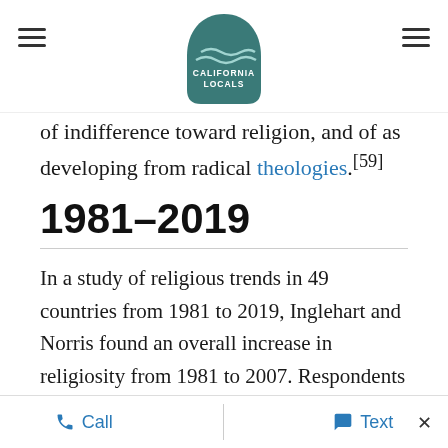California Locals logo with hamburger menus
of indifference toward religion, and of as developing from radical theologies.[59]
1981–2019
In a study of religious trends in 49 countries from 1981 to 2019, Inglehart and Norris found an overall increase in religiosity from 1981 to 2007. Respondents in 33 of 49 countries rated themselves higher on a scale from one to ten when asked how important God was in their lives. This increase occurred in most former communist and developing countries, but also in some high-income countries. A sharp reversal of the
Call   Text